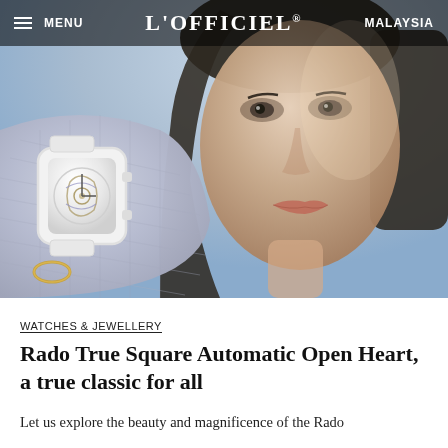MENU  L'OFFICIEL®  MALAYSIA
[Figure (photo): Close-up of a young woman holding her hand near her face, wearing a white square Rado watch with open heart mechanism on a knitted blue-grey glove. Background is bright sky.]
WATCHES & JEWELLERY
Rado True Square Automatic Open Heart, a true classic for all
Let us explore the beauty and magnificence of the Rado